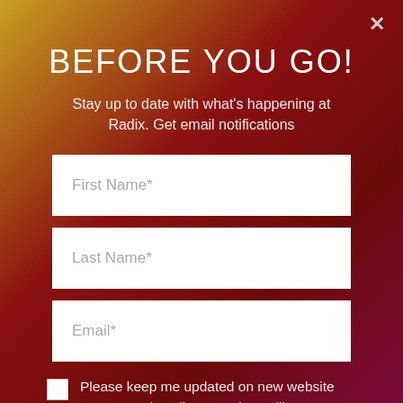BEFORE YOU GO!
Stay up to date with what's happening at Radix. Get email notifications
First Name*
Last Name*
Email*
Please keep me updated on new website content and Radix news. (We will process your data in accordance with our Privacy Policy. You may withdraw this consent at any time by